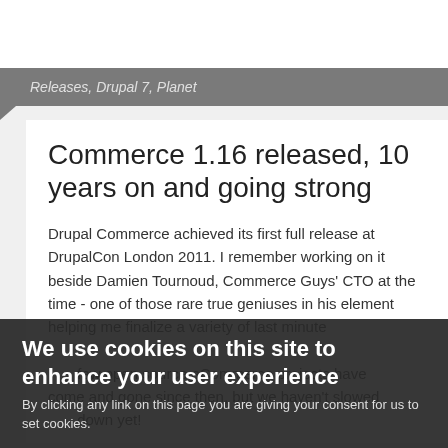Releases, Drupal 7, Planet
Commerce 1.16 released, 10 years on and going strong
Drupal Commerce achieved its first full release at DrupalCon London 2011. I remember working on it beside Damien Tournoud, Commerce Guys' CTO at the time - one of those rare true geniuses in his element helping me finalize a variety of last minute ... few open source eCommerce projects have come and gone since then, but we haven't slowed down yet!
We use cookies on this site to enhance your user experience

By clicking any link on this page you are giving your consent for us to set cookies.